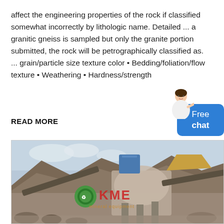affect the engineering properties of the rock if classified somewhat incorrectly by lithologic name. Detailed ... a granitic gneiss is sampled but only the granite portion submitted, the rock will be petrographically classified as. ... grain/particle size texture color • Bedding/foliation/flow texture • Weathering • Hardness/strength
READ MORE
[Figure (photo): Industrial rock crushing / mineral processing equipment (KME brand) at a quarry site with rocky hillside in the background. Heavy machinery including conveyor belts and crushing structures visible with KME logo watermark.]